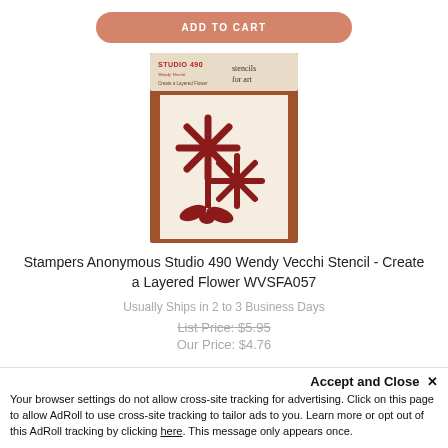[Figure (photo): Add to Cart button (salmon/terracotta color, rounded rectangle) at top of page]
[Figure (photo): Product image: Stampers Anonymous Studio 490 stencil package showing layered flower design with two daisy-like flowers on brown/beige background. Label reads 'stencils for art' and 'Create a Layered Flower'.]
Stampers Anonymous Studio 490 Wendy Vecchi Stencil - Create a Layered Flower WVSFA057
Usually Ships in 2 to 3 Business Days
List Price: $5.95
Our Price: $4.76
Accept and Close ×
Your browser settings do not allow cross-site tracking for advertising. Click on this page to allow AdRoll to use cross-site tracking to tailor ads to you. Learn more or opt out of this AdRoll tracking by clicking here. This message only appears once.